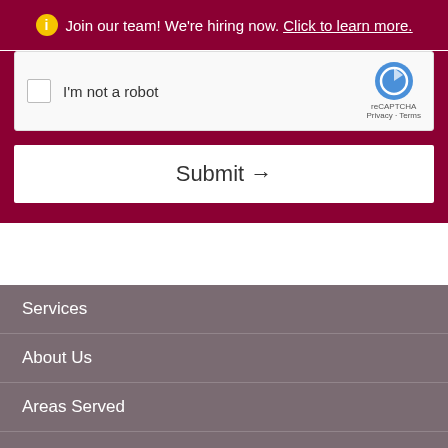ⓘ Join our team! We're hiring now. Click to learn more.
[Figure (screenshot): reCAPTCHA checkbox widget with 'I'm not a robot' label and reCAPTCHA branding]
Submit →
Services
About Us
Areas Served
Careers
View Sales
Blog
Contact